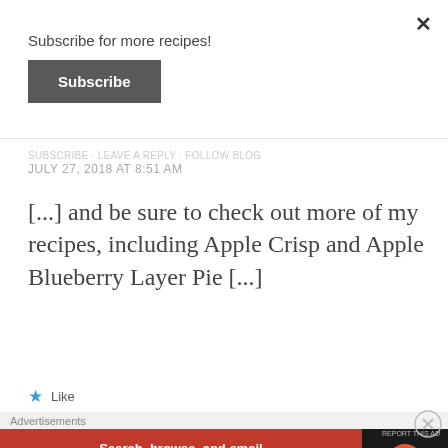Subscribe for more recipes!
Subscribe
JULY 27, 2018 AT 8:51 AM
[...] and be sure to check out more of my recipes, including Apple Crisp and Apple Blueberry Layer Pie [...]
Like
Advertisements
[Figure (screenshot): DuckDuckGo advertisement banner: orange left panel with 'Search, browse, and email with more privacy. All in One Free App' and dark right panel with DuckDuckGo duck logo and brand name]